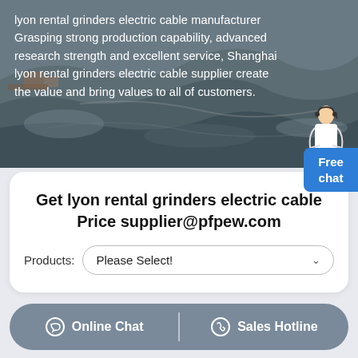[Figure (photo): Aerial photo of a mining quarry with heavy machinery, shown as background behind text overlay]
lyon rental grinders electric cable manufacturer Grasping strong production capability, advanced research strength and excellent service, Shanghai lyon rental grinders electric cable supplier create the value and bring values to all of customers.
Get lyon rental grinders electric cable Price supplier@pfpew.com
Products: Please Select!
Online Chat | Sales Hotline